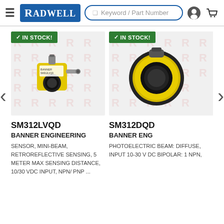[Figure (screenshot): Radwell website header with hamburger menu, Radwell logo, keyword/part number search bar, user icon, and cart icon]
[Figure (photo): Product image of SM312LVQD Banner Engineering sensor in yellow housing with IN STOCK badge, shown against watermarked background]
SM312LVQD
BANNER ENGINEERING
SENSOR, MINI-BEAM, RETROREFLECTIVE SENSING, 5 METER MAX SENSING DISTANCE, 10/30 VDC INPUT, NPN/ PNP ...
[Figure (photo): Partial product image of SM312DQD Banner Engineering sensor in yellow housing with IN STOCK badge, cropped on right edge]
SM312DQD
BANNER ENG
PHOTOELECTRIC BEAM: DIFFUSE, INPUT 10-30 V DC BIPOLAR: 1 NPN,